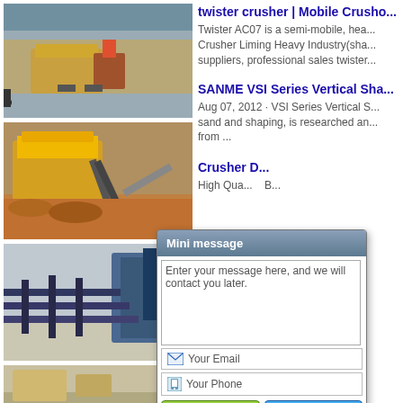[Figure (photo): Mining/quarry operation with heavy equipment loader and crusher machinery in a rocky hillside setting]
[Figure (photo): Yellow mobile crusher/screening plant with conveyor belts processing orange-red aggregate material]
[Figure (photo): Blue industrial conveyor belt system with support structures against mountain backdrop]
[Figure (photo): Partially visible image of crusher/mining equipment]
twister crusher | Mobile Crusho...
Twister AC07 is a semi-mobile, hea... Crusher Liming Heavy Industry(sha... suppliers, professional sales twister...
SANME VSI Series Vertical Sha...
Aug 07, 2012 · VSI Series Vertical S... sand and shaping, is researched an... from ...
Crusher D...
High Qua... B...
Pilot Cru...
[Figure (screenshot): Mini message popup dialog with header, text area saying 'Enter your message here, and we will contact you later.', Your Email field, Your Phone field, Email Us and Send buttons]